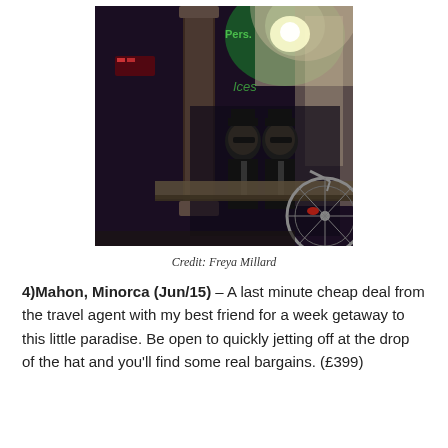[Figure (photo): A nighttime photograph showing two figures resembling the Blues Brothers (wearing black suits and sunglasses) in what appears to be a bar or club entrance, with green neon lighting, ornate columns, and a bicycle visible on the right side.]
Credit: Freya Millard
4)Mahon, Minorca (Jun/15) – A last minute cheap deal from the travel agent with my best friend for a week getaway to this little paradise. Be open to quickly jetting off at the drop of the hat and you'll find some real bargains. (£399)